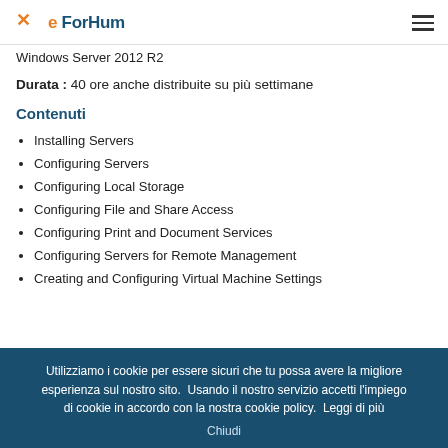e ForHum
Windows Server 2012 R2
Durata : 40 ore anche distribuite su più settimane
Contenuti
Installing Servers
Configuring Servers
Configuring Local Storage
Configuring File and Share Access
Configuring Print and Document Services
Configuring Servers for Remote Management
Creating and Configuring Virtual Machine Settings
Utilizziamo i cookie per essere sicuri che tu possa avere la migliore esperienza sul nostro sito. Usando il nostro servizio accetti l'impiego di cookie in accordo con la nostra cookie policy. Leggi di più
Chiudi